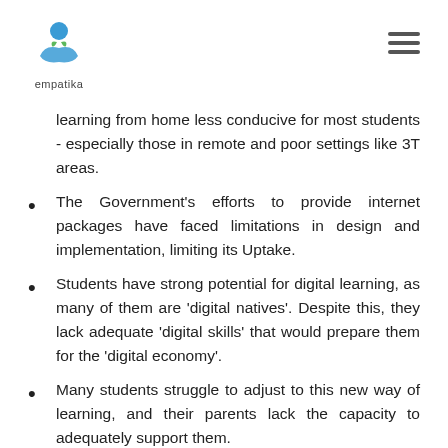empatika
learning from home less conducive for most students - especially those in remote and poor settings like 3T areas.
The Government's efforts to provide internet packages have faced limitations in design and implementation, limiting its Uptake.
Students have strong potential for digital learning, as many of them are 'digital natives'. Despite this, they lack adequate 'digital skills' that would prepare them for the 'digital economy'.
Many students struggle to adjust to this new way of learning, and their parents lack the capacity to adequately support them.
Inadequate support for teachers to transition to digital learning has posed challenges for them to